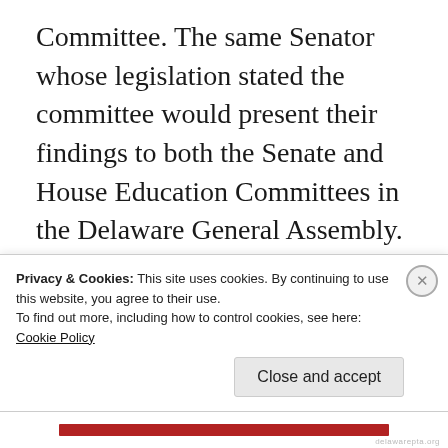Committee. The same Senator whose legislation stated the committee would present their findings to both the Senate and House Education Committees in the Delaware General Assembly. So how is it that a parent advocacy group from Wilmington presents their complaints about a committee that they didn't really take action with until their last two meetings, well after the
Privacy & Cookies: This site uses cookies. By continuing to use this website, you agree to their use.
To find out more, including how to control cookies, see here: Cookie Policy